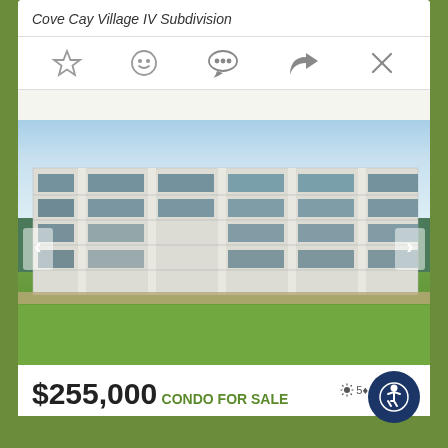Cove Cay Village IV Subdivision
[Figure (photo): Exterior photo of a multi-story condominium building (Cove Cay Village IV) with green lawn in foreground and blue sky background. Navigation arrows on left and right sides of the photo.]
$255,000
CONDO FOR SALE